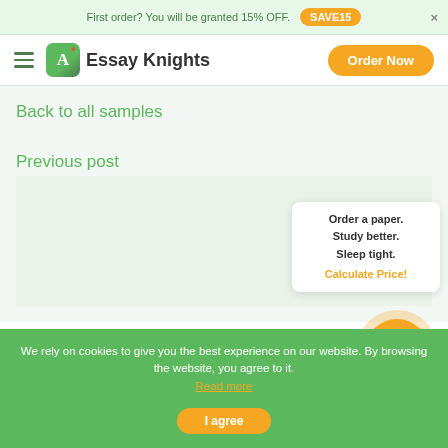First order? You will be granted 15% OFF. SAVE15
Essay Knights
Order Now
Back to all samples
Previous post
Order a paper. Study better. Sleep tight. Calculate Price!
We rely on cookies to give you the best experience on our website. By browsing the website, you agree to it. Read more
I agree